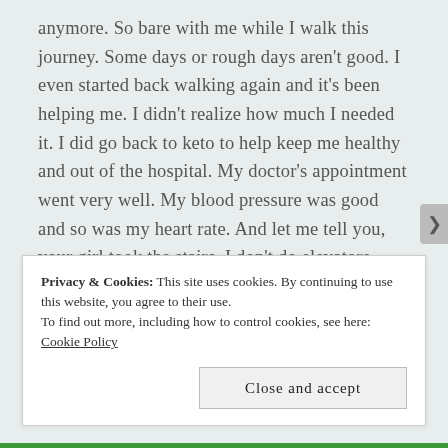anymore. So bare with me while I walk this journey. Some days or rough days aren't good. I even started back walking again and it's been helping me. I didn't realize how much I needed it. I did go back to keto to help keep me healthy and out of the hospital. My doctor's appointment went very well. My blood pressure was good and so was my heart rate. And let me tell you, your girl took the stairs, I don't do elevators long as I can prevent it. Well, pray everyone is well and bless. God is good all the time. Bless
Privacy & Cookies: This site uses cookies. By continuing to use this website, you agree to their use.
To find out more, including how to control cookies, see here: Cookie Policy
Close and accept